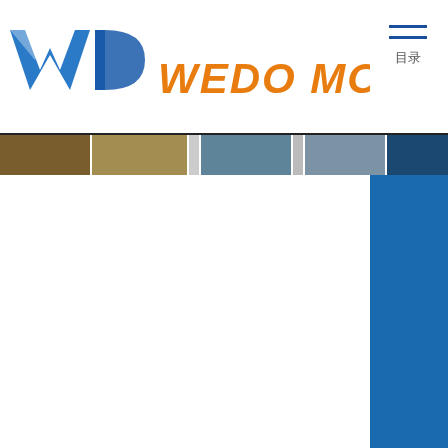[Figure (logo): WEDO MOULD company logo with stylized WD letters in blue and brand name in orange italic text]
[Figure (other): Hamburger menu icon with two horizontal blue lines and Chinese characters below]
[Figure (photo): Horizontal strip of small thumbnail images showing various scenes/products]
[Figure (other): Blue right sidebar panel]
首页  |  产品
[Figure (other): Gray footer area with input/search box]
©20
[Figure (photo): Bottom thumbnail images - gray square and white rectangle]